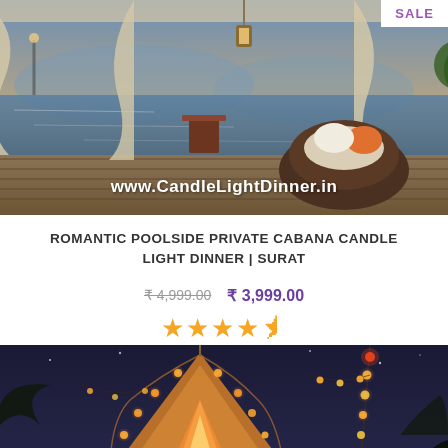[Figure (photo): Romantic poolside private cabana with sheer white curtains overlooking a water body at dusk, with wicker furniture and cushions. Website watermark 'www.CandleLightDinner.in' at bottom. SALE badge top right.]
ROMANTIC POOLSIDE PRIVATE CABANA CANDLE LIGHT DINNER | SURAT
₹ 4,999.00   ₹ 3,999.00
[Figure (photo): Romantic outdoor teepee tent decorated with string lights and Edison bulbs in a garden setting at night.]